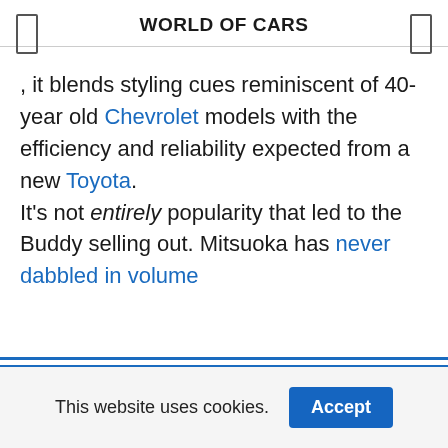WORLD OF CARS
, it blends styling cues reminiscent of 40-year old Chevrolet models with the efficiency and reliability expected from a new Toyota. It's not entirely popularity that led to the Buddy selling out. Mitsuoka has never dabbled in volume
This website uses cookies. Accept